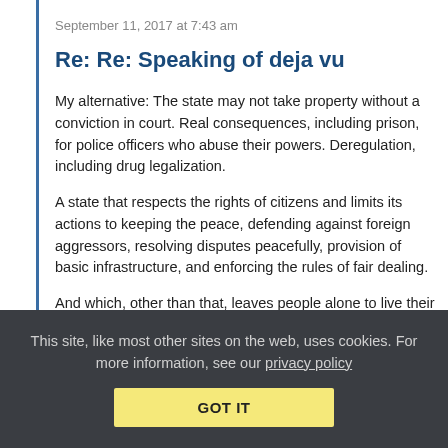September 11, 2017 at 7:43 am
Re: Re: Speaking of deja vu
My alternative: The state may not take property without a conviction in court. Real consequences, including prison, for police officers who abuse their powers. Deregulation, including drug legalization.
A state that respects the rights of citizens and limits its actions to keeping the peace, defending against foreign aggressors, resolving disputes peacefully, provision of basic infrastructure, and enforcing the rules of fair dealing.
And which, other than that, leaves people alone to live their lives as they see fit.
This site, like most other sites on the web, uses cookies. For more information, see our privacy policy  GOT IT